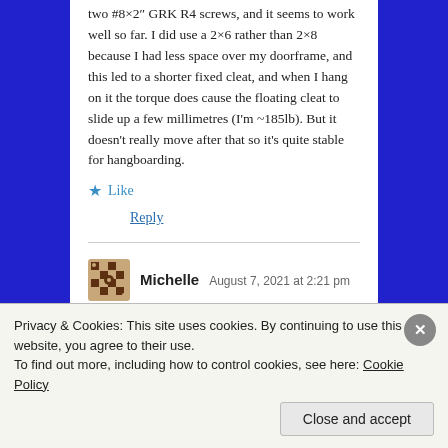two #8×2" GRK R4 screws, and it seems to work well so far. I did use a 2×6 rather than 2×8 because I had less space over my doorframe, and this led to a shorter fixed cleat, and when I hang on it the torque does cause the floating cleat to slide up a few millimetres (I'm ~185lb). But it doesn't really move after that so it's quite stable for hangboarding.
★ Like
Reply
[Figure (illustration): Avatar/profile picture with a geometric pattern in dark brown and tan colors]
Michelle  August 7, 2021 at 2:21 pm
Privacy & Cookies: This site uses cookies. By continuing to use this website, you agree to their use.
To find out more, including how to control cookies, see here: Cookie Policy
Close and accept